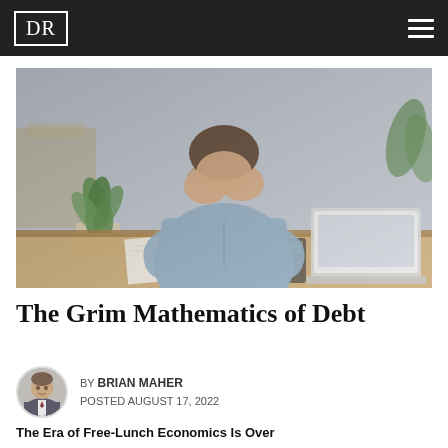DR
[Figure (photo): Man in blue shirt sitting at desk with head in hands, papers and laptop in front of him, succulent plant to the left, stress/financial worry concept photo]
The Grim Mathematics of Debt
BY BRIAN MAHER
POSTED AUGUST 17, 2022
The Era of Free-Lunch Economics Is Over